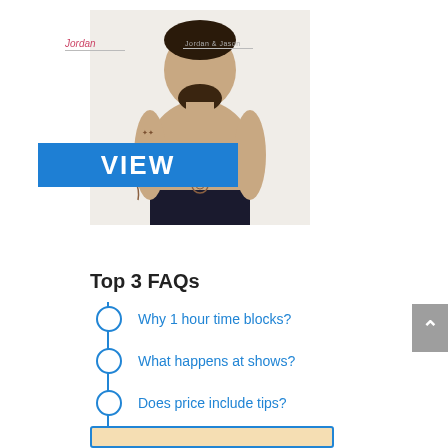[Figure (photo): Shirtless man with tattoos standing facing forward, with a blue VIEW banner overlaid across his torso]
Top 3 FAQs
Why 1 hour time blocks?
What happens at shows?
Does price include tips?